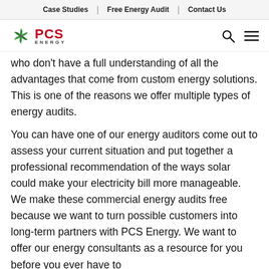Case Studies | Free Energy Audit | Contact Us
[Figure (logo): PCS Energy logo with green pinwheel icon and red PCS text]
who don't have a full understanding of all the advantages that come from custom energy solutions. This is one of the reasons we offer multiple types of energy audits.
You can have one of our energy auditors come out to assess your current situation and put together a professional recommendation of the ways solar could make your electricity bill more manageable. We make these commercial energy audits free because we want to turn possible customers into long-term partners with PCS Energy. We want to offer our energy consultants as a resource for you before you ever have to